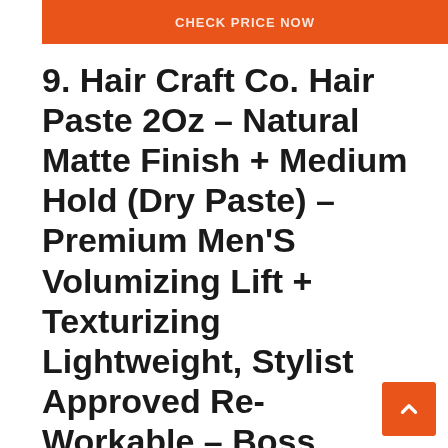CHECK PRICE NOW
9. Hair Craft Co. Hair Paste 2Oz – Natural Matte Finish + Medium Hold (Dry Paste) – Premium Men'S Volumizing Lift + Texturizing Lightweight, Stylist Approved Re-Workable – Boss Scented – Water Soluble